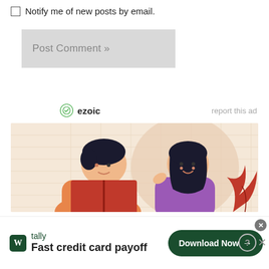☐ Notify me of new posts by email.
Post Comment »
[Figure (logo): ezoic logo with green circular icon and bold text 'ezoic', with 'report this ad' text on the right]
[Figure (illustration): Flat illustration of two young people reading a book together on a peach/warm background with grid lines and plant leaves]
[Figure (infographic): Tally app advertisement banner: Tally logo (dark green square with W), 'tally' text, 'Fast credit card payoff' tagline, and a 'Download Now' button with arrow on dark green rounded rectangle]